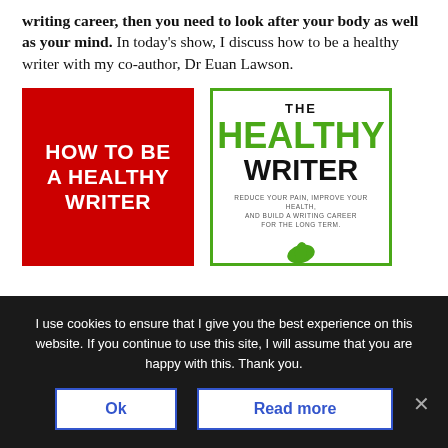If you want to have a long and successful writing career, then you need to look after your body as well as your mind. In today's show, I discuss how to be a healthy writer with my co-author, Dr Euan Lawson.
[Figure (illustration): Two book covers side by side. Left: red background with white bold text 'HOW TO BE A HEALTHY WRITER'. Right: white background with green border, text 'THE HEALTHY WRITER' in green and black, subtitle 'REDUCE YOUR PAIN, IMPROVE YOUR HEALTH, AND BUILD A WRITING CAREER FOR THE LONG TERM', with a green leaf graphic at the bottom.]
I use cookies to ensure that I give you the best experience on this website. If you continue to use this site, I will assume that you are happy with this. Thank you.
Ok
Read more